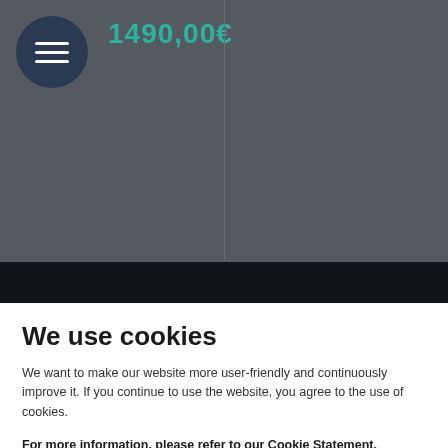1490,00€
[Figure (logo): Sky Optic optical equipment logo in dark background]
Catalog
Ophtalmic Surgery
We use cookies
We want to make our website more user-friendly and continuously improve it. If you continue to use the website, you agree to the use of cookies.
For more information, please refer to our Cookie Statement.